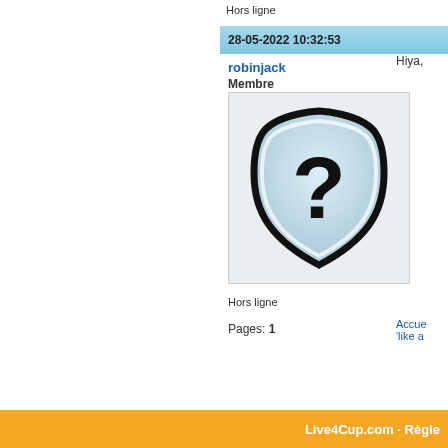Hors ligne
28-05-2022 10:32:53
robinjack
Membre
[Figure (illustration): Default user avatar: a shield shape with a question mark inside, light blue background, black outline]
Hors ligne
Pages: 1
Hiya,
Accue
'like a
Live4Cup.com · Règle